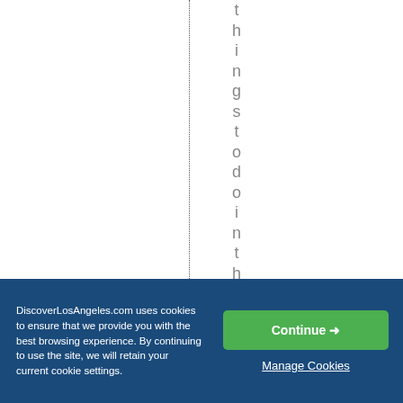[Figure (screenshot): Partial website page showing vertical text reading 'things to do in the C' with a vertical dotted line to the left, on a white background]
DiscoverLosAngeles.com uses cookies to ensure that we provide you with the best browsing experience. By continuing to use the site, we will retain your current cookie settings.
Continue →
Manage Cookies